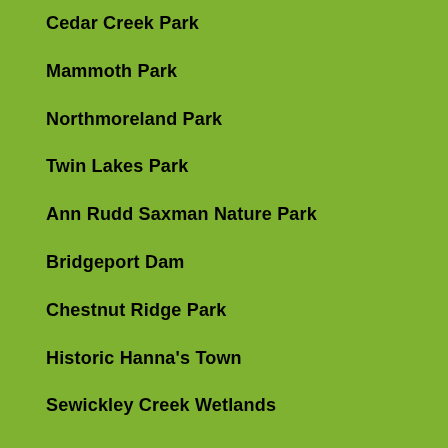Cedar Creek Park
Mammoth Park
Northmoreland Park
Twin Lakes Park
Ann Rudd Saxman Nature Park
Bridgeport Dam
Chestnut Ridge Park
Historic Hanna's Town
Sewickley Creek Wetlands